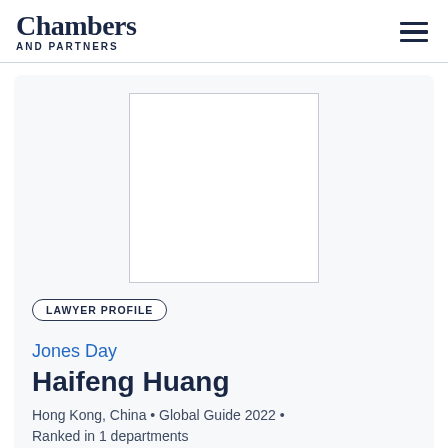Chambers AND PARTNERS
[Figure (photo): Placeholder photo box for lawyer profile image]
LAWYER PROFILE
Jones Day
Haifeng Huang
Hong Kong, China • Global Guide 2022 • Ranked in 1 departments